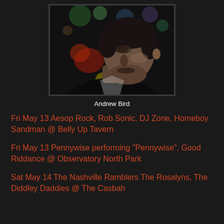[Figure (photo): Black and white style portrait photo of a man (Andrew Bird) looking to the side with bokeh lights in background]
Andrew Bird
Fri May 13 Aesop Rock, Rob Sonic, DJ Zone, Homeboy Sandman @ Belly Up Tavern
Fri May 13 Pennywise performing "Pennywise", Good Riddance @ Observatory North Park
Sat May 14 The Nashville Ramblers The Rosalyns, The Diddley Daddies @ The Casbah